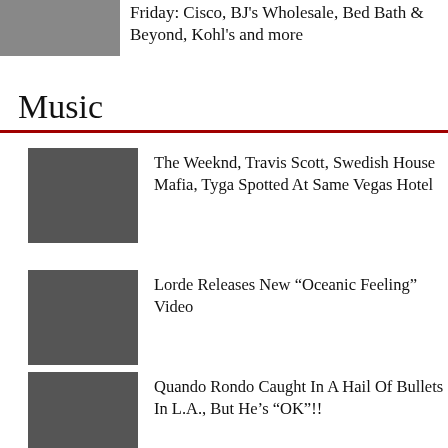Friday: Cisco, BJ's Wholesale, Bed Bath & Beyond, Kohl's and more
Music
The Weeknd, Travis Scott, Swedish House Mafia, Tyga Spotted At Same Vegas Hotel
Lorde Releases New “Oceanic Feeling” Video
Quando Rondo Caught In A Hail Of Bullets In L.A., But He’s “OK”!!